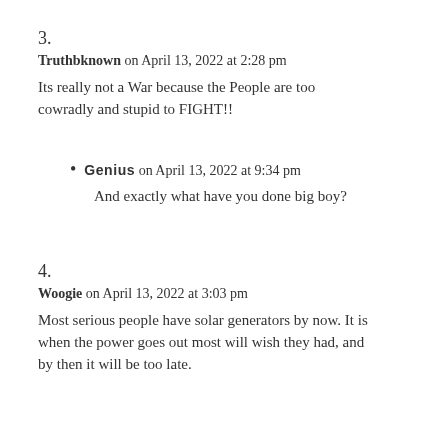3.
Truthbknown on April 13, 2022 at 2:28 pm
Its really not a War because the People are too cowradly and stupid to FIGHT!!
Genius on April 13, 2022 at 9:34 pm
And exactly what have you done big boy?
4.
Woogie on April 13, 2022 at 3:03 pm
Most serious people have solar generators by now. It is when the power goes out most will wish they had, and by then it will be too late.